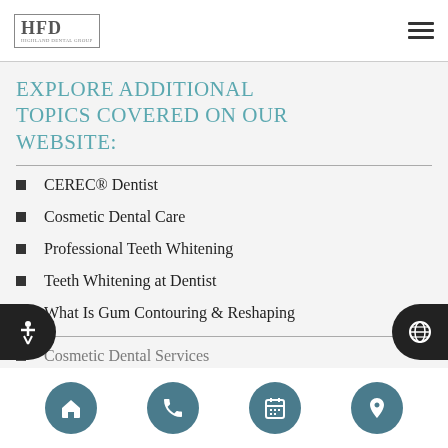HFD
Explore additional topics covered on our website:
CEREC® Dentist
Cosmetic Dental Care
Professional Teeth Whitening
Teeth Whitening at Dentist
What Is Gum Contouring & Reshaping
Cosmetic Dental Services